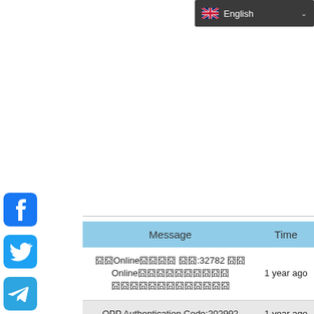English
Refresh Page
| Message | Time |
| --- | --- |
| 囧囧Online囧囧囧囧 囧囧:32782 囧囧Online囧囧囧囧囧囧囧囧囧囧 囧囧囧囧囧囧囧囧囧囧囧囧囧 | 1 year ago |
| QPP Authentication Code:202992 | 1 year ago |
| Your foodpanda verification code is 9075 | 1 year ago |